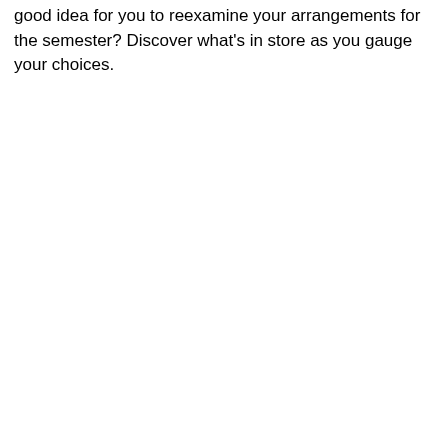good idea for you to reexamine your arrangements for the semester? Discover what's in store as you gauge your choices.